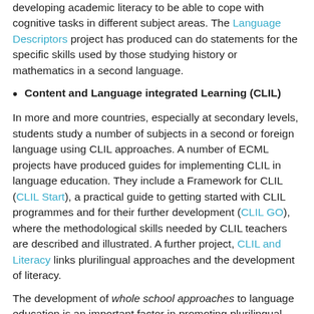developing academic literacy to be able to cope with cognitive tasks in different subject areas. The Language Descriptors project has produced can do statements for the specific skills used by those studying history or mathematics in a second language.
Content and Language integrated Learning (CLIL)
In more and more countries, especially at secondary levels, students study a number of subjects in a second or foreign language using CLIL approaches. A number of ECML projects have produced guides for implementing CLIL in language education. They include a Framework for CLIL (CLIL Start), a practical guide to getting started with CLIL programmes and for their further development (CLIL GO), where the methodological skills needed by CLIL teachers are described and illustrated. A further project, CLIL and Literacy links plurilingual approaches and the development of literacy.
The development of whole school approaches to language education is an important factor in promoting plurilingual education; creating synergies between the teaching and learning